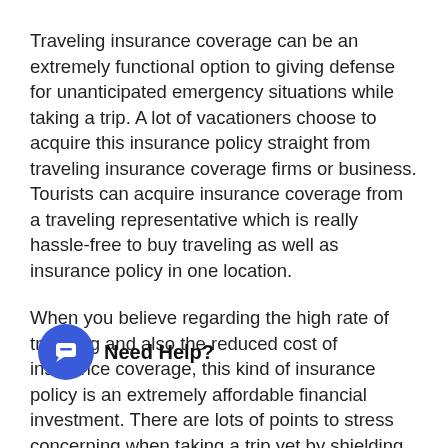Traveling insurance coverage can be an extremely functional option to giving defense for unanticipated emergency situations while taking a trip. A lot of vacationers choose to acquire this insurance policy straight from traveling insurance coverage firms or business. Tourists can acquire insurance coverage from a traveling representative which is really hassle-free to buy traveling as well as insurance policy in one location.
When you believe regarding the high rate of traveling and also the reduced cost of insurance coverage, this kind of insurance policy is an extremely affordable financial investment. There are lots of points to stress concerning when taking a trip yet by shielding your tr... Need Help? isive taking a trip insurance policy, unpredicted occasions do not have to be one of them.